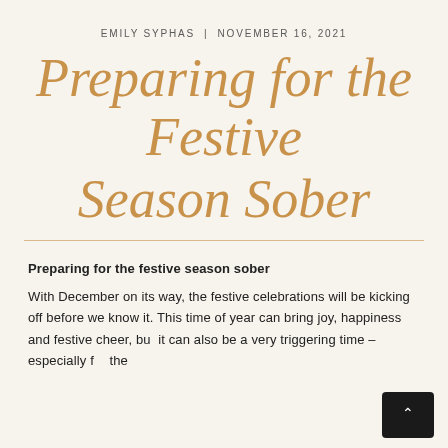EMILY SYPHAS | NOVEMBER 16, 2021
Preparing for the Festive Season Sober
Preparing for the festive season sober
With December on its way, the festive celebrations will be kicking off before we know it. This time of year can bring joy, happiness and festive cheer, but it can also be a very triggering time – especially f… the…